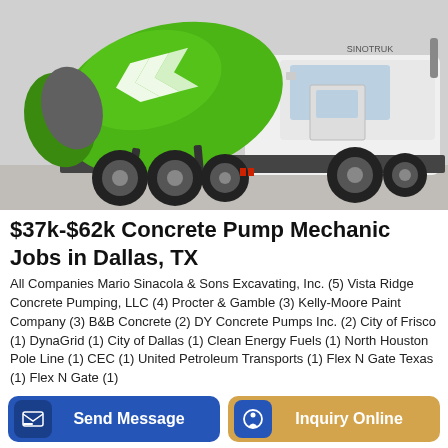[Figure (photo): Green and white concrete mixer truck on a light gray background]
$37k-$62k Concrete Pump Mechanic Jobs in Dallas, TX
All Companies Mario Sinacola & Sons Excavating, Inc. (5) Vista Ridge Concrete Pumping, LLC (4) Procter & Gamble (3) Kelly-Moore Paint Company (3) B&B Concrete (2) DY Concrete Pumps Inc. (2) City of Frisco (1) DynaGrid (1) City of Dallas (1) Clean Energy Fuels (1) North Houston Pole Line (1) CEC (1) United Petroleum Transports (1) Flex N Gate Texas (1) Flex N Gate (1)
Send Message
Inquiry Online